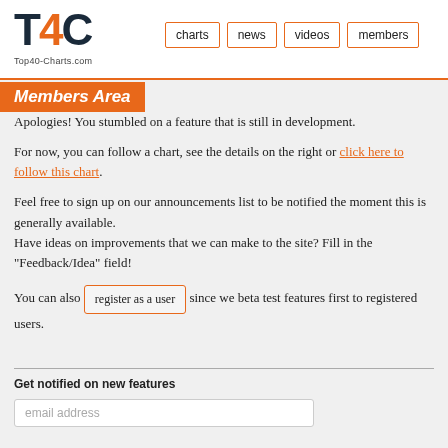T4C Top40-Charts.com | charts | news | videos | members
Members Area
Apologies! You stumbled on a feature that is still in development.
For now, you can follow a chart, see the details on the right or click here to follow this chart.
Feel free to sign up on our announcements list to be notified the moment this is generally available.
Have ideas on improvements that we can make to the site? Fill in the "Feedback/Idea" field!
You can also register as a user since we beta test features first to registered users.
Get notified on new features
email address